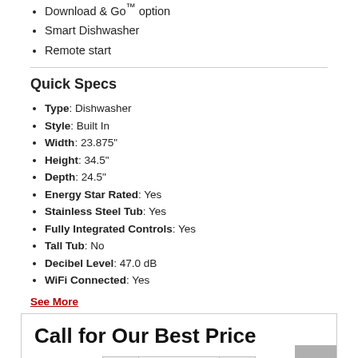Download & Go™ option
Smart Dishwasher
Remote start
Quick Specs
Type: Dishwasher
Style: Built In
Width: 23.875"
Height: 34.5"
Depth: 24.5"
Energy Star Rated: Yes
Stainless Steel Tub: Yes
Fully Integrated Controls: Yes
Tall Tub: No
Decibel Level: 47.0 dB
WiFi Connected: Yes
See More
Call for Our Best Price